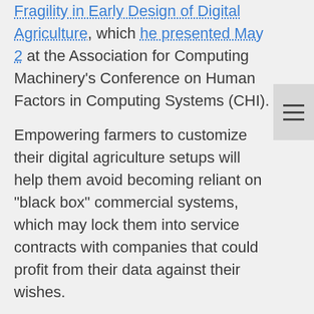Fragility in Early Design of Digital Agriculture, which he presented May 2 at the Association for Computing Machinery's Conference on Human Factors in Computing Systems (CHI).
Empowering farmers to customize their digital agriculture setups will help them avoid becoming reliant on "black box" commercial systems, which may lock them into service contracts with companies that could profit from their data against their wishes.
Digital agriculture typically involves deploying sensors in fields, collecting data, and sending it to the cloud for analysis, then using the results to automate and optimize farm tasks, like irrigation. Small rural farms will likely face many challenges in installing these systems due to gaps in rural infrastructure, such as frequent weather-related power outages and poor internet coverage.